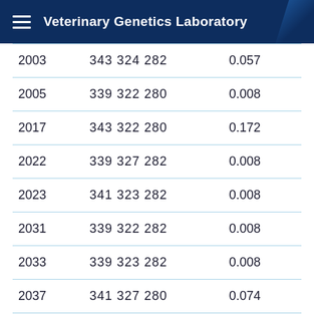Veterinary Genetics Laboratory
| 2003 | 343 324 282 | 0.057 |
| 2005 | 339 322 280 | 0.008 |
| 2017 | 343 322 280 | 0.172 |
| 2022 | 339 327 282 | 0.008 |
| 2023 | 341 323 282 | 0.008 |
| 2031 | 339 322 282 | 0.008 |
| 2033 | 339 323 282 | 0.008 |
| 2037 | 341 327 280 | 0.074 |
| 2039 | 345 327 276 | 0.156 |